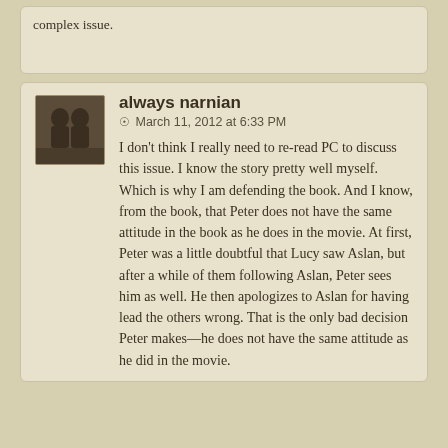complex issue.
always narnian
© March 11, 2012 at 6:33 PM
I don't think I really need to re-read PC to discuss this issue. I know the story pretty well myself. Which is why I am defending the book. And I know, from the book, that Peter does not have the same attitude in the book as he does in the movie. At first, Peter was a little doubtful that Lucy saw Aslan, but after a while of them following Aslan, Peter sees him as well. He then apologizes to Aslan for having lead the others wrong. That is the only bad decision Peter makes—he does not have the same attitude as he did in the movie.